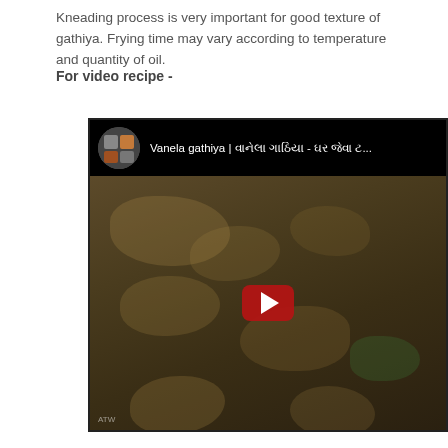Kneading process is very important for good texture of gathiya. Frying time may vary according to temperature and quantity of oil.
For video recipe -
[Figure (screenshot): YouTube video thumbnail for 'Vanela gathiya' recipe video showing fried gathiya snacks in a pan, with a red YouTube play button in the center and the channel name/video title in the top overlay bar.]